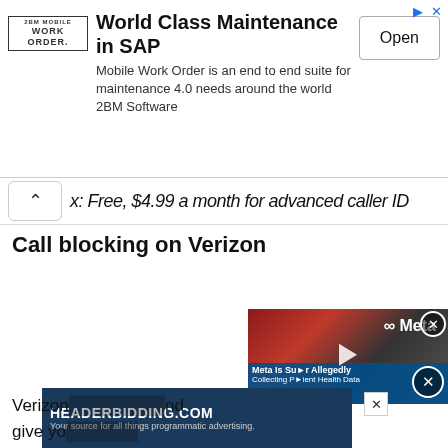[Figure (screenshot): Advertisement banner: '2BM Mobile Work Order' logo on left, headline 'World Class Maintenance in SAP', body text 'Mobile Work Order is an end to end suite for maintenance 4.0 needs around the world 2BM Software', Open button on right.]
x: Free, $4.99 a month for advanced caller ID
Call blocking on Verizon
[Figure (screenshot): Video overlay thumbnail showing Meta logo and text 'Meta Is Su... Allegedly Collecting P...ient Health Data Without Consent' with play button and close buttons.]
[Figure (screenshot): Bottom advertisement banner: HEADERBIDDING.COM - Your source for all things programmatic advertising.]
Verizon... nd give yo...